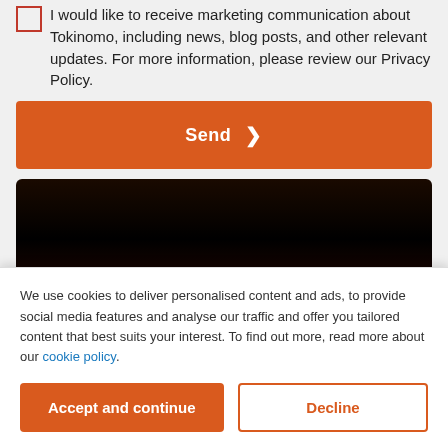I would like to receive marketing communication about Tokinomo, including news, blog posts, and other relevant updates. For more information, please review our Privacy Policy.
Send
[Figure (screenshot): Dark/black video player block]
We use cookies to deliver personalised content and ads, to provide social media features and analyse our traffic and offer you tailored content that best suits your interest. To find out more, read more about our cookie policy.
Accept and continue
Decline